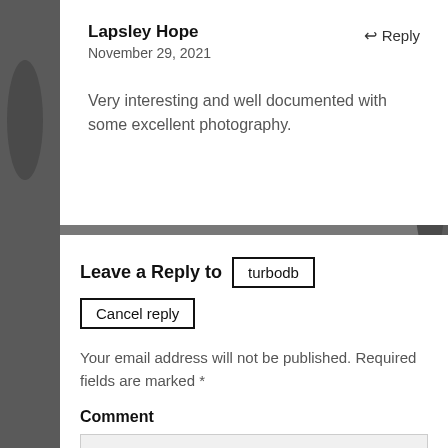Lapsley Hope
November 29, 2021
Reply
Very interesting and well documented with some excellent photography.
Leave a Reply to turbodb Cancel reply
Your email address will not be published. Required fields are marked *
Comment